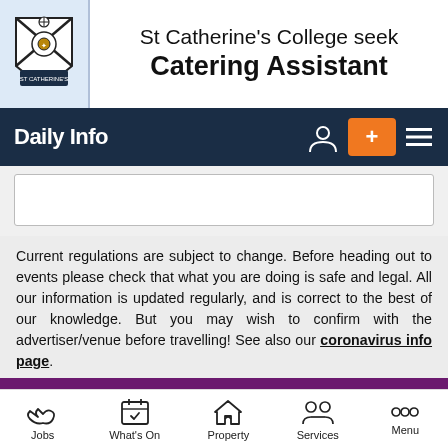[Figure (logo): St Catherine's College coat of arms crest logo]
St Catherine's College seek Catering Assistant
Daily Info
Current regulations are subject to change. Before heading out to events please check that what you are doing is safe and legal. All our information is updated regularly, and is correct to the best of our knowledge. But you may wish to confirm with the advertiser/venue before travelling! See also our coronavirus info page.
Variety Up The Wall
This unique vaudeville ensemble will bring their hilarious and highly acclaimed show to Oxford.
Jobs | What's On | Property | Services | Menu